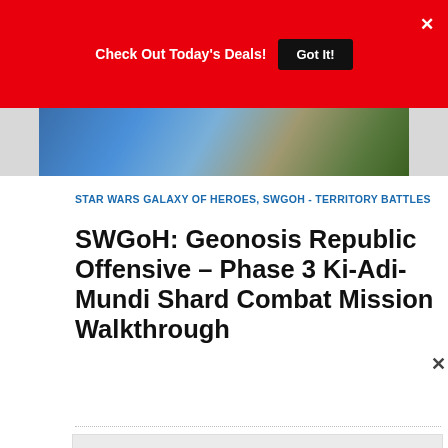Check Today's Deals! Got It!
[Figure (photo): Advertisement banner image showing food and gaming imagery]
STAR WARS GALAXY OF HEROES, SWGOH - TERRITORY BATTLES
SWGoH: Geonosis Republic Offensive – Phase 3 Ki-Adi-Mundi Shard Combat Mission Walkthrough
[Figure (infographic): Advertisement: Find Your Nearest Splash In - Splash In with navigation icon logo and ChampsDiet Free Recipes banner below]